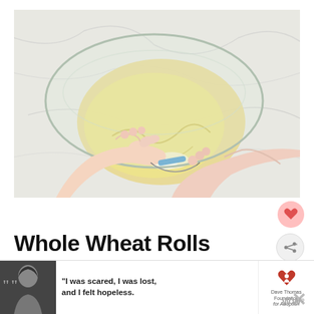[Figure (photo): Overhead view of hands kneading dough on a marble surface, with a large glass bowl tipped over the dough and a blue-handled pastry cutter visible.]
Whole Wheat Rolls
[Figure (photo): Advertisement banner: black and white photo of a woman with quote 'I was scared, I was lost, and I felt hopeless.' with Dave Thomas Foundation for Adoption logo and close buttons.]